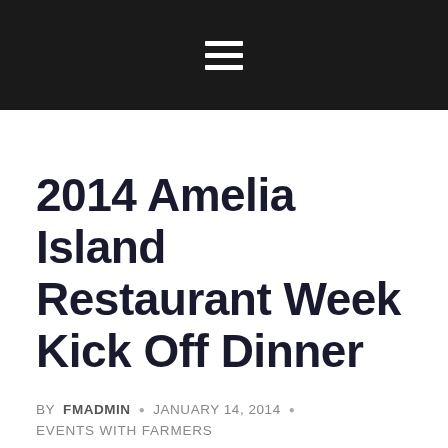≡ (hamburger menu icon)
2014 Amelia Island Restaurant Week Kick Off Dinner
BY FMADMIN · JANUARY 14, 2014 · EVENTS WITH FARMERS
[Figure (other): Share / Save social sharing button with Facebook, Twitter, and forward icons]